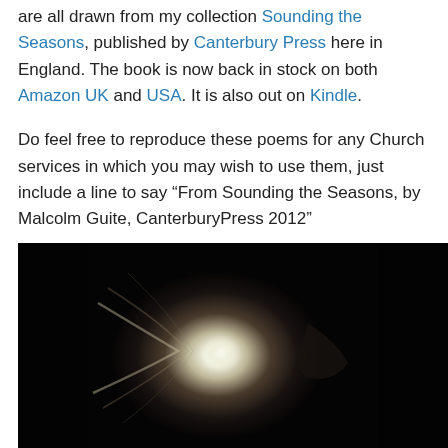are all drawn from my collection Sounding the Seasons, published by Canterbury Press here in England. The book is now back in stock on both Amazon UK and USA. It is also out on Kindle.
Do feel free to reproduce these poems for any Church services in which you may wish to use them, just include a line to say “From Sounding the Seasons, by Malcolm Guite, CanterburyPress 2012”
[Figure (photo): A dark photograph showing a bright glowing circular light at the center, possibly a candle flame or light through a dark tunnel, with swirling light effects against a near-black background.]